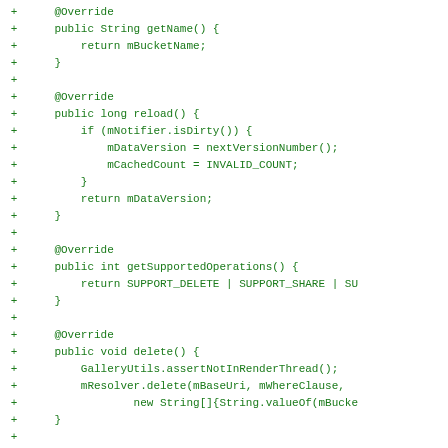Code diff showing Java methods: getName(), reload(), getSupportedOperations(), delete(), isLeafAlbum() with green + markers indicating additions